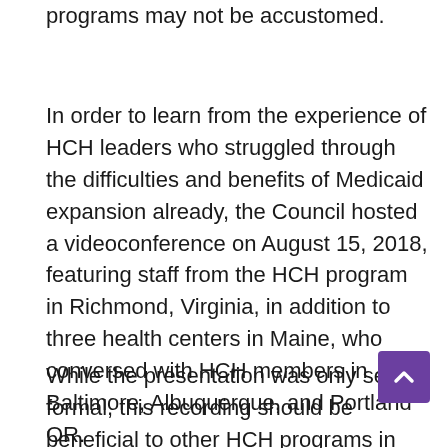programs may not be accustomed.
In order to learn from the experience of HCH leaders who struggled through the difficulties and benefits of Medicaid expansion already, the Council hosted a videoconference on August 15, 2018, featuring staff from the HCH program in Richmond, Virginia, in addition to three health centers in Maine, who conversed with HCH members in Baltimore, Albuquerque, and Portland OR.
While the presentation was only semi-formal, this recording should be beneficial to other HCH programs in Virginia and Maine, in addition to those in any other state on the verge of expanding